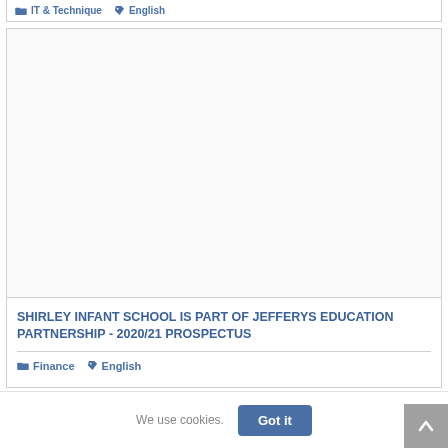IT & Technique  English
[Figure (photo): Card with a large blank/white image area representing a school prospectus thumbnail]
SHIRLEY INFANT SCHOOL IS PART OF JEFFERYS EDUCATION PARTNERSHIP - 2020/21 PROSPECTUS
Finance  English
We use cookies.  Got it